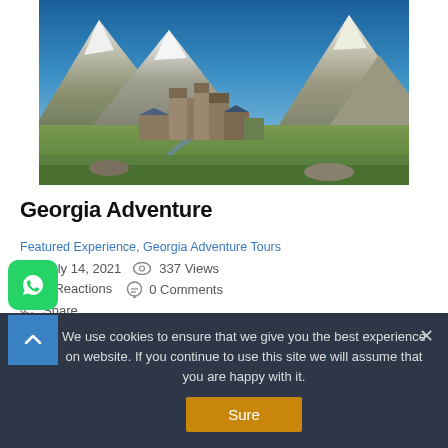[Figure (photo): Landscape photo of a Georgian village with ancient stone towers and snow-capped mountains in the background under a blue sky]
Georgia Adventure
Featured Experience, Georgia Adventure Tours   July 14, 2021   337 Views   0 Reactions   0 Comments   Share
The Georgia Adventure trip starts and
We use cookies to ensure that we give you the best experience on website. If you continue to use this site we will assume that you are happy with it.